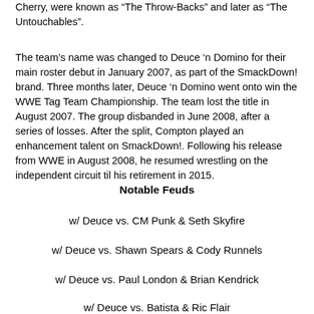Cherry, were known as “The Throw-Backs” and later as “The Untouchables”.
The team’s name was changed to Deuce ‘n Domino for their main roster debut in January 2007, as part of the SmackDown! brand. Three months later, Deuce ‘n Domino went onto win the WWE Tag Team Championship. The team lost the title in August 2007. The group disbanded in June 2008, after a series of losses. After the split, Compton played an enhancement talent on SmackDown!. Following his release from WWE in August 2008, he resumed wrestling on the independent circuit til his retirement in 2015.
Notable Feuds
w/ Deuce vs. CM Punk & Seth Skyfire
w/ Deuce vs. Shawn Spears & Cody Runnels
w/ Deuce vs. Paul London & Brian Kendrick
w/ Deuce vs. Batista & Ric Flair